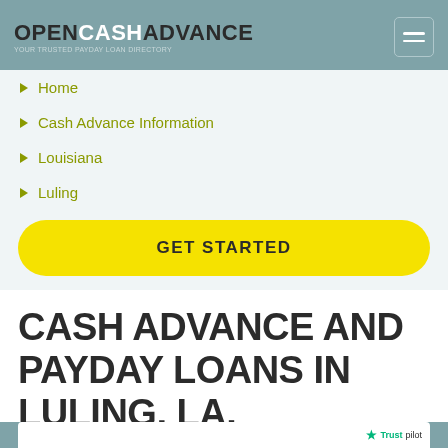OPENCASHADVANCE
Home
Cash Advance Information
Louisiana
Luling
GET STARTED
CASH ADVANCE AND PAYDAY LOANS IN LULING, LA.